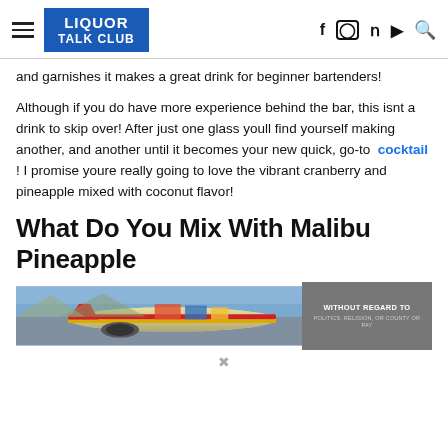LIQUOR TALK CLUB
and garnishes it makes a great drink for beginner bartenders!
Although if you do have more experience behind the bar, this isnt a drink to skip over! After just one glass youll find yourself making another, and another until it becomes your new quick, go-to cocktail ! I promise youre really going to love the vibrant cranberry and pineapple mixed with coconut flavor!
What Do You Mix With Malibu Pineapple
[Figure (photo): Advertisement banner showing an airplane being loaded with cargo, with text 'WITHOUT REGARD TO POLITICS, RELIGION, OR COUNTY OR PAY' on a dark gray overlay on the right side.]